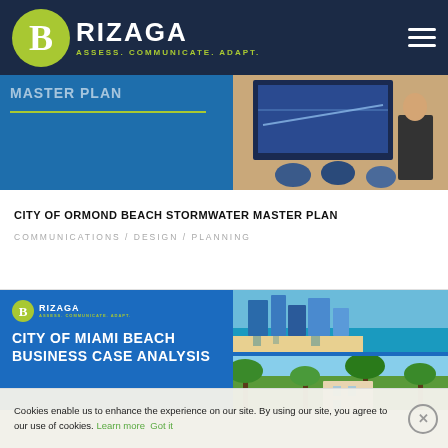Brizaga — Assess. Communicate. Adapt.
[Figure (screenshot): Partial view of a Brizaga project card with a photo of a presentation/meeting room on the right side]
CITY OF ORMOND BEACH STORMWATER MASTER PLAN
COMMUNICATIONS / DESIGN / PLANNING
[Figure (screenshot): Brizaga project card for City of Miami Beach Business Case Analysis, showing aerial photos of Miami Beach coastline and buildings]
Cookies enable us to enhance the experience on our site. By using our site, you agree to our use of cookies. Learn more Got it